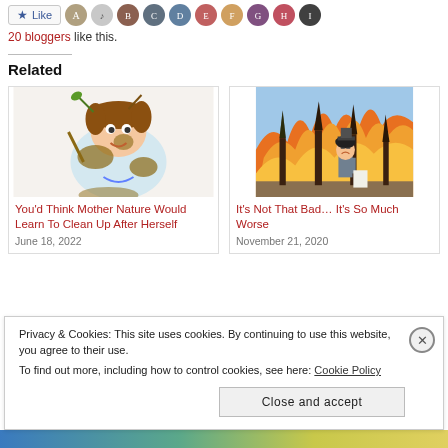[Figure (screenshot): Like button and blogger avatars row at the top of a blog page]
20 bloggers like this.
Related
[Figure (illustration): Cartoon illustration of a messy caveman/cave-woman figure covered in mud, holding a stick]
You'd Think Mother Nature Would Learn To Clean Up After Herself
June 18, 2022
[Figure (illustration): Cartoon illustration of a man standing in front of burning forest trees, looking dejected and holding papers]
It's Not That Bad… It's So Much Worse
November 21, 2020
Privacy & Cookies: This site uses cookies. By continuing to use this website, you agree to their use.
To find out more, including how to control cookies, see here: Cookie Policy
Close and accept